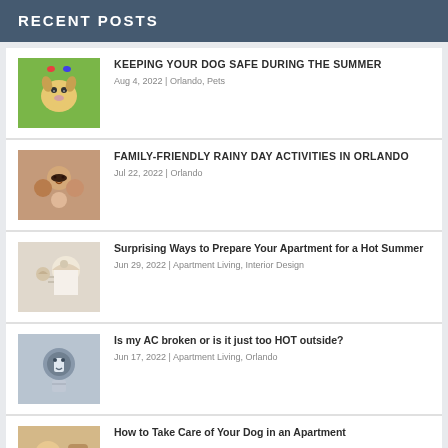RECENT POSTS
KEEPING YOUR DOG SAFE DURING THE SUMMER | Aug 4, 2022 | Orlando, Pets
FAMILY-FRIENDLY RAINY DAY ACTIVITIES IN ORLANDO | Jul 22, 2022 | Orlando
Surprising Ways to Prepare Your Apartment for a Hot Summer | Jun 29, 2022 | Apartment Living, Interior Design
Is my AC broken or is it just too HOT outside? | Jun 17, 2022 | Apartment Living, Orlando
How to Take Care of Your Dog in an Apartment